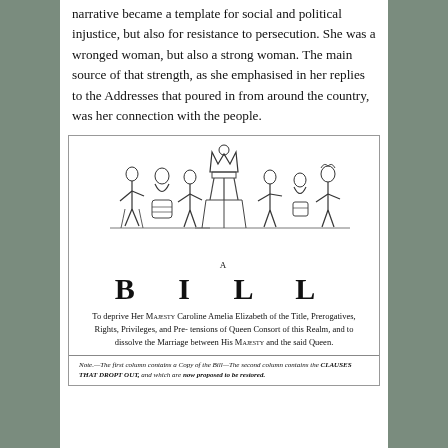narrative became a template for social and political injustice, but also for resistance to persecution. She was a wronged woman, but also a strong woman. The main source of that strength, as she emphasised in her replies to the Addresses that poured in from around the country, was her connection with the people.
[Figure (illustration): Historical illustration showing figures in classical dress around a pedestal or throne, with a crown above. Multiple figures appear to be in ceremonial or allegorical poses.]
A
B I L L
To deprive Her Majesty Caroline Amelia Elizabeth of the Title, Prerogatives, Rights, Privileges, and Pretensions of Queen Consort of this Realm, and to dissolve the Marriage between His Majesty and the said Queen.
Note.—The first column contains a Copy of the Bill—The second column contains the CLAUSES THAT DROPT OUT, and which are now proposed to be restored.